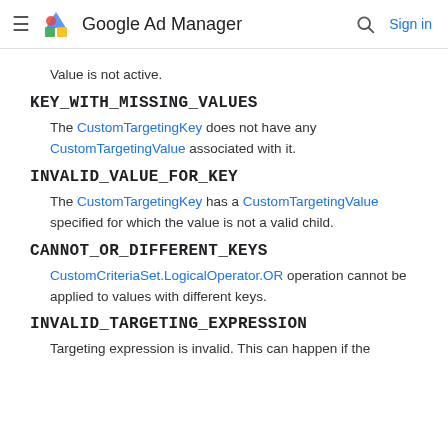Google Ad Manager  Sign in
Value is not active.
KEY_WITH_MISSING_VALUES
The CustomTargetingKey does not have any CustomTargetingValue associated with it.
INVALID_VALUE_FOR_KEY
The CustomTargetingKey has a CustomTargetingValue specified for which the value is not a valid child.
CANNOT_OR_DIFFERENT_KEYS
CustomCriteriaSet.LogicalOperator.OR operation cannot be applied to values with different keys.
INVALID_TARGETING_EXPRESSION
Targeting expression is invalid. This can happen if the